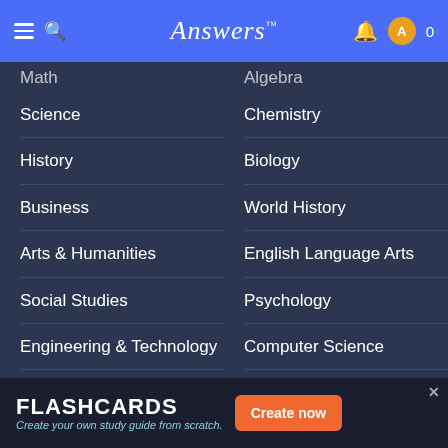Answers
Math (partial)
Algebra (partial)
Science
Chemistry
History
Biology
Business
World History
Arts & Humanities
English Language Arts
Social Studies
Psychology
Engineering & Technology
Computer Science
Other
Economics
Arts & Entertainment
Sciences
FLASHCARDS Create your own study guide from scratch.
Create now